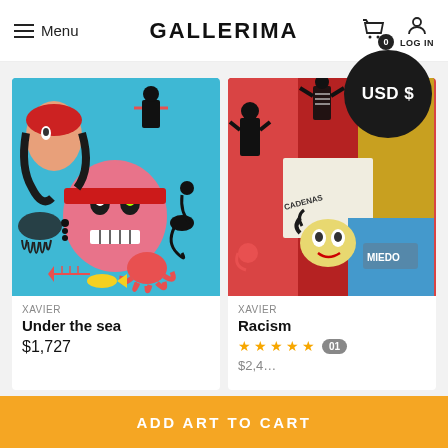Menu | GALLERIMA | 0 | LOG IN
USD $
[Figure (photo): Colorful painting titled 'Under the sea' by Xavier showing a skull with a red headband, mermaid, jellyfish, fish, and octopus on a turquoise background]
XAVIER
Under the sea
$1,727
[Figure (photo): Colorful graffiti-style painting titled 'Racism' by Xavier showing various figures, skeletons, and text including 'CADENAS' and 'MIEDO' on a mixed color background]
XAVIER
Racism
★★★★★ 01
ADD ART TO CART